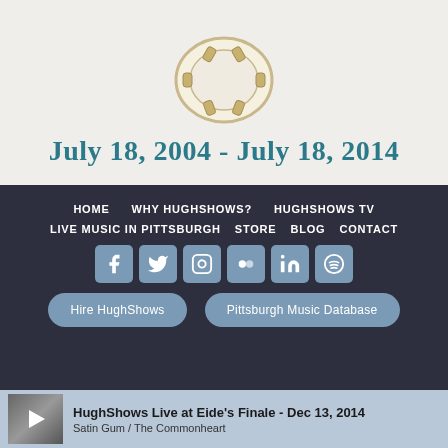[Figure (illustration): Partial drum illustration at top of page]
July 18, 2004 - July 18, 2014
[Figure (infographic): Navigation footer with dark background containing nav links, social media icons, and call-to-action buttons]
All photos © 2022 HughShows Productions, LLC. All Rights Reserved. Photos cannot be used without permission. Web
HughShows Live at Eide's Finale - Dec 13, 2014
Satin Gum / The Commonheart